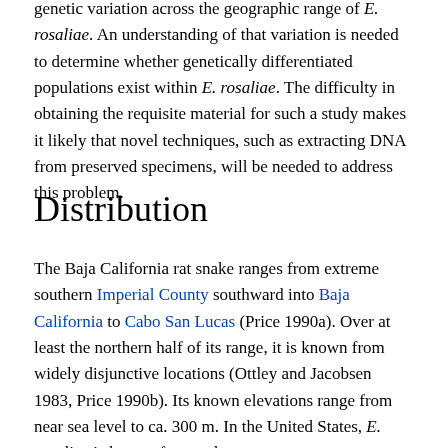genetic variation across the geographic range of E. rosaliae. An understanding of that variation is needed to determine whether genetically differentiated populations exist within E. rosaliae. The difficulty in obtaining the requisite material for such a study makes it likely that novel techniques, such as extracting DNA from preserved specimens, will be needed to address this problem.
Distribution
The Baja California rat snake ranges from extreme southern Imperial County southward into Baja California to Cabo San Lucas (Price 1990a). Over at least the northern half of its range, it is known from widely disjunctive locations (Ottley and Jacobsen 1983, Price 1990b). Its known elevations range from near sea level to ca. 300 m. In the United States, E. rosaliae is known from only one